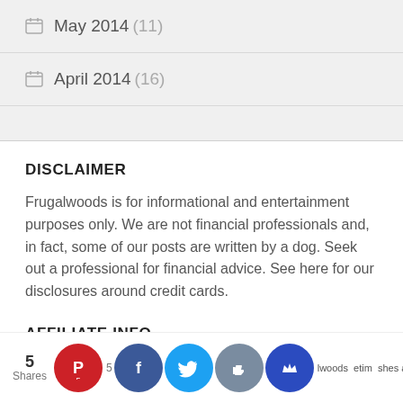May 2014 (11)
April 2014 (16)
DISCLAIMER
Frugalwoods is for informational and entertainment purposes only. We are not financial professionals and, in fact, some of our posts are written by a dog. Seek out a professional for financial advice. See here for our disclosures around credit cards.
AFFILIATE INFO
5 Shares